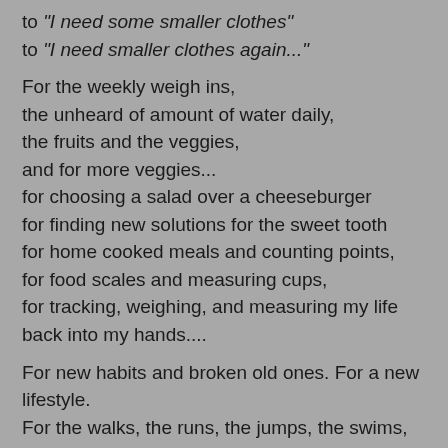to "I need some smaller clothes"
to "I need smaller clothes again..."
For the weekly weigh ins,
the unheard of amount of water daily,
the fruits and the veggies,
and for more veggies...
for choosing a salad over a cheeseburger
for finding new solutions for the sweet tooth
for home cooked meals and counting points,
for food scales and measuring cups,
for tracking, weighing, and measuring my life back into my hands....
For new habits and broken old ones. For a new lifestyle.
For the walks, the runs, the jumps, the swims, the weights, the bike rides, the DVD's....
For pushing just a little bit harder...
For the 250's
The 200's